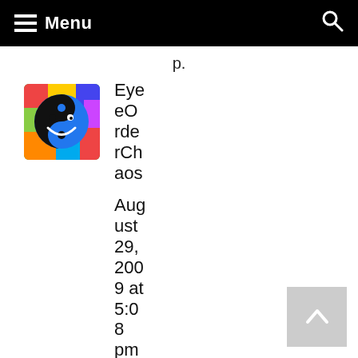Menu
EyeOrderChaos
August 29, 2009 at 5:08 pm
Reply
Heh heh, Flabbergasted, what a